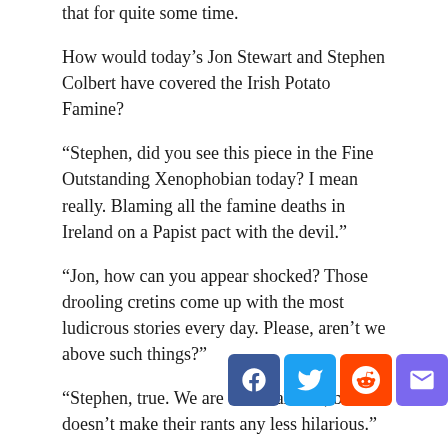that for quite some time.
How would today's Jon Stewart and Stephen Colbert have covered the Irish Potato Famine?
“Stephen, did you see this piece in the Fine Outstanding Xenophobian today? I mean really. Blaming all the famine deaths in Ireland on a Papist pact with the devil.”
“Jon, how can you appear shocked? Those drooling cretins come up with the most ludicrous stories every day. Please, aren't we above such things?”
“Stephen, true. We are above all this, but it doesn’t make their rants any less hilarious.”
“True, Jon. I mean really, do you see where they say Papists all have tails like the devil, which is why God is punishing them with this famine?”
“Stephen, you are so right. Everyone knows Papists